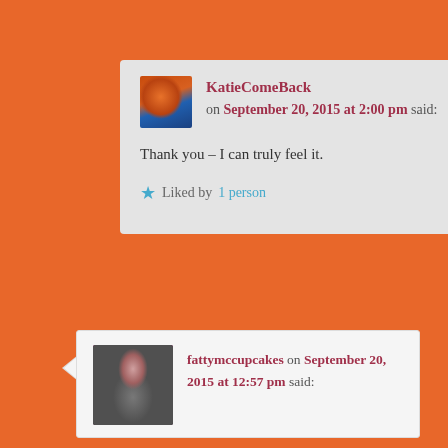KatieComeBack on September 20, 2015 at 2:00 pm said:

Thank you – I can truly feel it.

★ Liked by 1 person
fattymccupcakes on September 20, 2015 at 12:57 pm said: